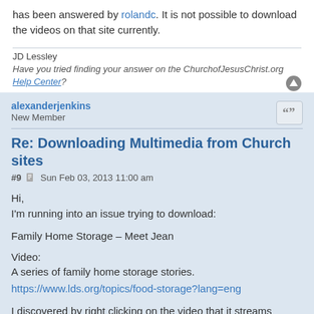has been answered by rolandc. It is not possible to download the videos on that site currently.
JD Lessley
Have you tried finding your answer on the ChurchofJesusChrist.org Help Center?
alexanderjenkins
New Member
Re: Downloading Multimedia from Church sites
#9  Sun Feb 03, 2013 11:00 am
Hi,
I'm running into an issue trying to download:

Family Home Storage – Meet Jean

Video:
A series of family home storage stories.
https://www.lds.org/topics/food-storage?lang=eng

I discovered by right clicking on the video that it streams through LDS.org using the "Brightcove" video cloud service. There is no way currently to download the video to my computer without having to get into a hackers-type coding solution which is laid out step by step